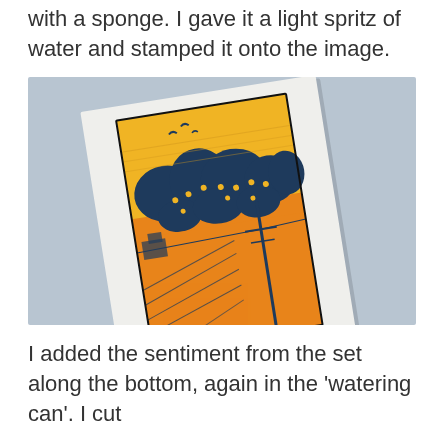with a sponge. I gave it a light spritz of water and stamped it onto the image.
[Figure (photo): A photograph of a white greeting card lying at an angle on a light blue-grey surface. The card features a colorful linocut print showing a rural landscape with trees, fields, a telegraph pole, and birds in a yellow sky with orange and dark blue colors.]
I added the sentiment from the set along the bottom, again in the 'watering can'. I cut